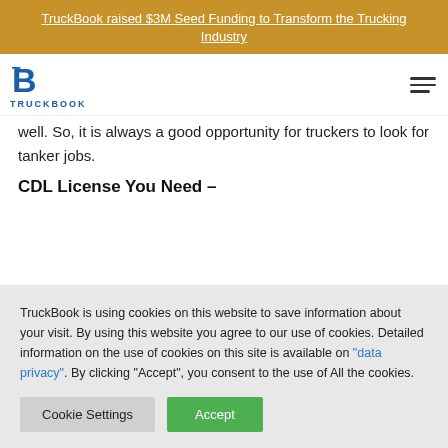TruckBook raised $3M Seed Funding to Transform the Trucking Industry
[Figure (logo): TruckBook logo with blue stylized B and TRUCKBOOK text]
well. So, it is always a good opportunity for truckers to look for tanker jobs.
CDL License You Need –
TruckBook is using cookies on this website to save information about your visit. By using this website you agree to our use of cookies. Detailed information on the use of cookies on this site is available on "data privacy". By clicking "Accept", you consent to the use of All the cookies.